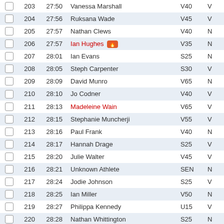|  | Pos | Time | Name | Cat |  |
| --- | --- | --- | --- | --- | --- |
|  | 203 | 27:50 | Vanessa Marshall | V40 | V |
|  | 204 | 27:56 | Ruksana Wade | V45 | V |
|  | 205 | 27:57 | Nathan Clews | V40 | N |
|  | 206 | 27:57 | Ian Hughes 🔥 | V35 | N |
|  | 207 | 28:01 | Ian Evans | S25 | N |
|  | 208 | 28:05 | Steph Carpenter | S30 | V |
|  | 209 | 28:09 | David Munro | V65 | N |
|  | 210 | 28:10 | Jo Codner | V40 | V |
|  | 211 | 28:13 | Madeleine Wain | V65 | V |
|  | 212 | 28:15 | Stephanie Muncherji | V55 | V |
|  | 213 | 28:16 | Paul Frank | V40 | N |
|  | 214 | 28:17 | Hannah Drage | S25 | V |
|  | 215 | 28:20 | Julie Walter | V45 | V |
|  | 216 | 28:21 | Unknown Athlete | SEN | N |
|  | 217 | 28:24 | Jodie Johnson | S25 | V |
|  | 218 | 28:25 | Ian Miller | V50 | N |
|  | 219 | 28:27 | Philippa Kennedy | U15 | V |
|  | 220 | 28:28 | Nathan Whittington | S25 | N |
|  | 221 | 28:33 | James Blackburn | S20 | N |